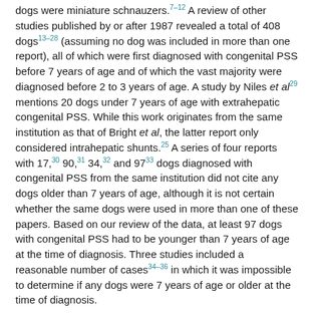dogs were miniature schnauzers.7–12 A review of other studies published by or after 1987 revealed a total of 408 dogs13–28 (assuming no dog was included in more than one report), all of which were first diagnosed with congenital PSS before 7 years of age and of which the vast majority were diagnosed before 2 to 3 years of age. A study by Niles et al29 mentions 20 dogs under 7 years of age with extrahepatic congenital PSS. While this work originates from the same institution as that of Bright et al, the latter report only considered intrahepatic shunts.25 A series of four reports with 17,30 90,31 34,32 and 9733 dogs diagnosed with congenital PSS from the same institution did not cite any dogs older than 7 years of age, although it is not certain whether the same dogs were used in more than one of these papers. Based on our review of the data, at least 97 dogs with congenital PSS had to be younger than 7 years of age at the time of diagnosis. Three studies included a reasonable number of cases34–36 in which it was impossible to determine if any dogs were 7 years of age or older at the time of diagnosis.